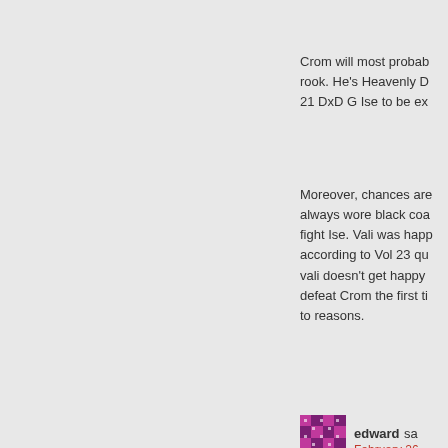Crom will most probab rook. He's Heavenly D 21 DxD G Ise to be ex
Moreover, chances are always wore black coa fight Ise. Vali was happ according to Vol 23 qu vali doesn't get happy defeat Crom the first ti to reasons.
Reply
edward sa
February 26,